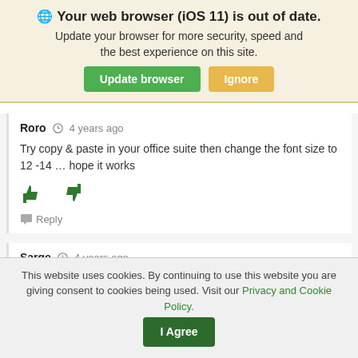[Figure (screenshot): Browser update notification banner with globe icon, bold title 'Your web browser (iOS 11) is out of date.', subtitle text, and two buttons: green 'Update browser' and orange 'Ignore']
Roro  4 years ago
Try copy & paste in your office suite then change the font size to 12 -14 … hope it works
[Figure (illustration): Thumbs up and thumbs down icons in green]
Reply
Sarge  4 years ago
This website uses cookies. By continuing to use this website you are giving consent to cookies being used. Visit our Privacy and Cookie Policy.  I Agree